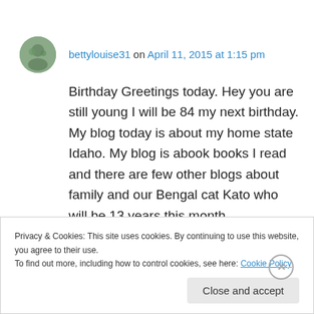bettylouise31 on April 11, 2015 at 1:15 pm
Birthday Greetings today. Hey you are still young I will be 84 my next birthday. My blog today is about my home state Idaho. My blog is abook books I read and there are few other blogs about family and our Bengal cat Kato who will be 13 years this month.
★ Like
Privacy & Cookies: This site uses cookies. By continuing to use this website, you agree to their use.
To find out more, including how to control cookies, see here: Cookie Policy
Close and accept